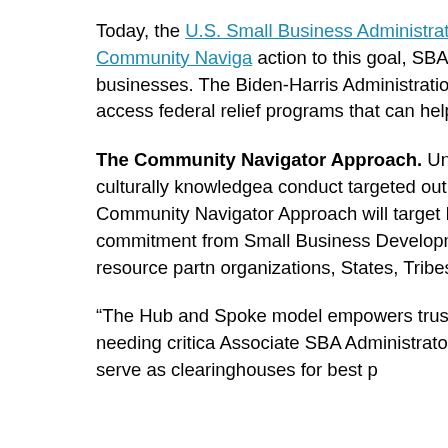Today, the U.S. Small Business Administration announced its encourage resource partners to adopt the Community Naviga action to this goal, SBA is leveraging a community navigator m nation's smallest businesses. The Biden-Harris Administration ensuring that the nation's small businesses equitably receive access federal relief programs that can help them weather the caused by the coronavirus pandemic.
The Community Navigator Approach. Under this approach, assistance organizations enlist trusted, culturally knowledgeable conduct targeted outreach to specific sectors of the entrepren initial pilot for the Community Navigator Approach will target N women-owned small businesses. To make this happen will req commitment from Small Business Development Centers (SBD Business Centers (WBCs), SCORE, other SBA resource partn organizations, States, Tribes and/or units of local government
“The Hub and Spoke model empowers trusted ambassadors a communities to focus on the small businesses needing critical Associate SBA Administrator for the Office for Entrepreneurial Madrid. “Hubs and Spokes serve as clearinghouses for best p